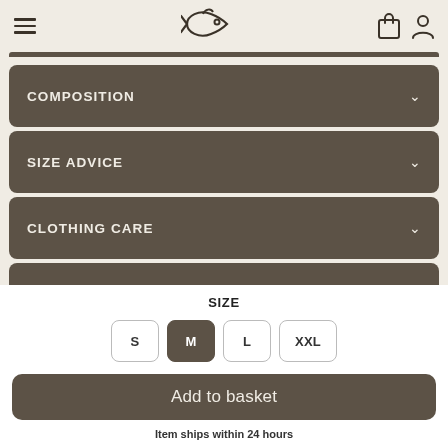[Figure (logo): Fish/piranha logo icon in outline style, centered in header]
COMPOSITION
SIZE ADVICE
CLOTHING CARE
SHIPPING & RETURN
SIZE
S  M  L  XXL
Add to basket
Item ships within 24 hours